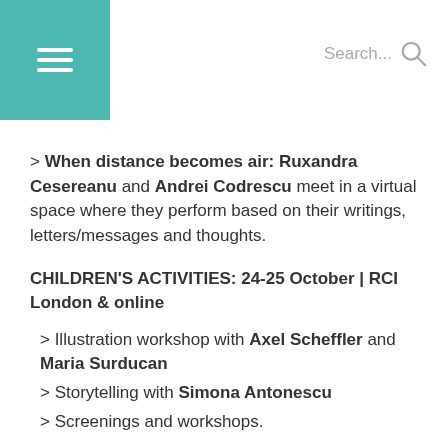Search...
> When distance becomes air: Ruxandra Cesereanu and Andrei Codrescu meet in a virtual space where they perform based on their writings, letters/messages and thoughts.
CHILDREN'S ACTIVITIES: 24-25 October | RCI London & online
> Illustration workshop with Axel Scheffler and Maria Surducan
> Storytelling with Simona Antonescu
> Screenings and workshops.
CLOSING EVENT: 13 November | RCI London & online
Be sure to attend the Proof, Politics & Guest...